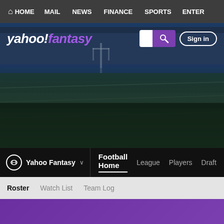HOME  MAIL  NEWS  FINANCE  SPORTS  ENTER
[Figure (screenshot): Yahoo Fantasy Football hero banner with stadium football field background. Yahoo! fantasy logo in white italic text top-left, search box and Sign in button top-right.]
Yahoo Fantasy  Football Home  League  Players  Draft
Roster  Watch List  Team Log
[Figure (illustration): Purple gradient banner bar]
[Figure (illustration): Team logo: circular icon with green background and yellow border, showing a football helmet with F on it]
Long Island Steelers
--hidden--  Since '08
Rating: 7